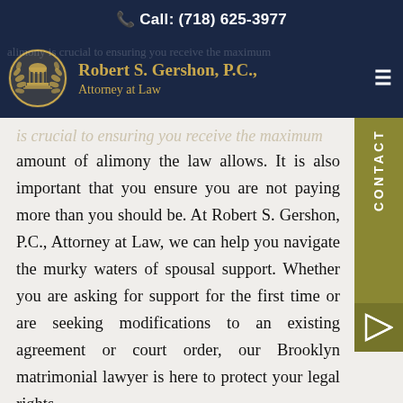📞 Call: (718) 625-3977
[Figure (logo): Robert S. Gershon, P.C., Attorney at Law logo with a courthouse emblem surrounded by laurel wreath in gold, on dark navy background with hamburger menu icon]
amount of alimony the law allows. It is also important that you ensure you are not paying more than you should be. At Robert S. Gershon, P.C., Attorney at Law, we can help you navigate the murky waters of spousal support. Whether you are asking for support for the first time or are seeking modifications to an existing agreement or court order, our Brooklyn matrimonial lawyer is here to protect your legal rights.